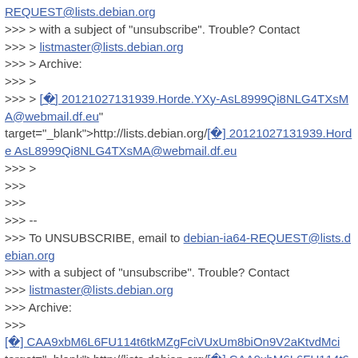REQUEST@lists.debian.org
>>> > with a subject of "unsubscribe". Trouble? Contact
>>> > listmaster@lists.debian.org
>>> > Archive:
>>> >
>>> > [0] 20121027131939.Horde.YXy-AsL8999Qi8NLG4TXsMA@webmail.df.eu" target="_blank">http://lists.debian.org/[0] 20121027131939.HordeAsL8999Qi8NLG4TXsMA@webmail.df.eu
>>> >
>>>
>>>
>>> --
>>> To UNSUBSCRIBE, email to debian-ia64-REQUEST@lists.debian.org
>>> with a subject of "unsubscribe". Trouble? Contact
>>> listmaster@lists.debian.org
>>> Archive:
>>>
[0] CAA9xbM6L6FU114t6tkMZgFciVUxUm8biOn9V2aKtvdMci target="_blank">http://lists.debian.org/[0] CAA9xbM6L6FU114t6
>>>
>>
>